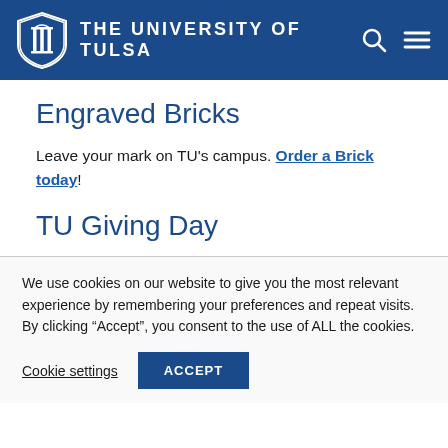THE UNIVERSITY OF TULSA
Engraved Bricks
Leave your mark on TU's campus. Order a Brick today!
TU Giving Day
We use cookies on our website to give you the most relevant experience by remembering your preferences and repeat visits. By clicking “Accept”, you consent to the use of ALL the cookies.